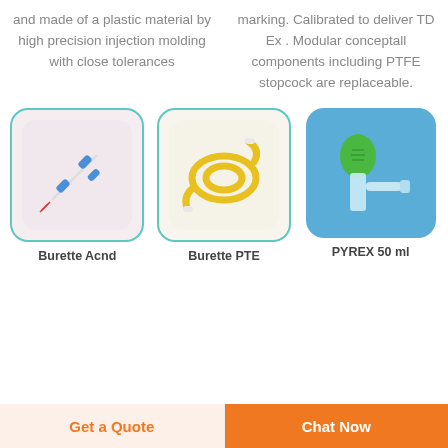and made of a plastic material by high precision injection molding with close tolerances
marking. Calibrated to deliver TD Ex . Modular conceptall components including PTFE stopcock are replaceable.
[Figure (photo): Medical burette assembly with blue connectors and red needle on pink background]
[Figure (photo): Yellow tubing burette (PTFE) coiled on white/cream background]
[Figure (photo): PYREX 50ml item with green cap and clear tubing on blue background]
Burette Acnd
Burette PTE
PYREX 50 ml
Get a Quote
Chat Now